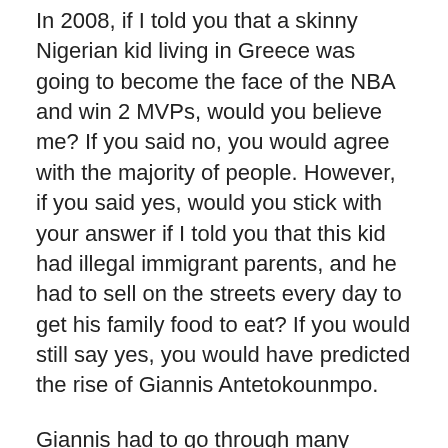In 2008, if I told you that a skinny Nigerian kid living in Greece was going to become the face of the NBA and win 2 MVPs, would you believe me? If you said no, you would agree with the majority of people. However, if you said yes, would you stick with your answer if I told you that this kid had illegal immigrant parents, and he had to sell on the streets every day to get his family food to eat? If you would still say yes, you would have predicted the rise of Giannis Antetokounmpo.
Giannis had to go through many struggles as a kid. He would go with his mom to sell sunglasses for a couple of euros each just to try to get food on the table. Sometimes, he would have to go to sleep with a rumbling stomach, imagining the food that he wasn't able to eat. He would always try to smile, so his brothers wouldn't start to worry. His family would get evicted a lot, and they would have to